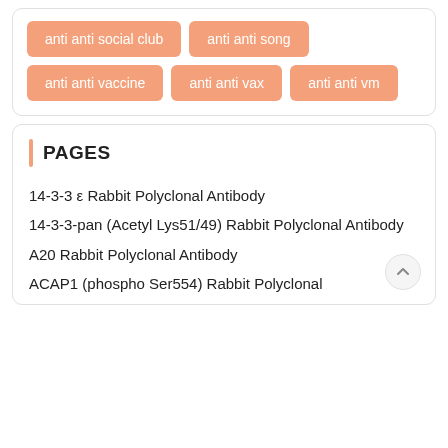anti anti social club
anti anti song
anti anti vaccine
anti anti vax
anti anti vm
PAGES
14-3-3 ε Rabbit Polyclonal Antibody
14-3-3-pan (Acetyl Lys51/49) Rabbit Polyclonal Antibody
A20 Rabbit Polyclonal Antibody
ACAP1 (phospho Ser554) Rabbit Polyclonal